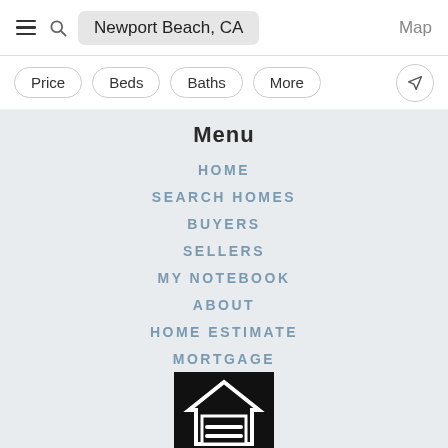[Figure (screenshot): Top navigation bar with hamburger menu, search icon, search box showing 'Newport Beach, CA', and Map text]
[Figure (screenshot): Filter bar with Price, Beds, Baths, More buttons and a pin/location icon]
Menu
HOME
SEARCH HOMES
BUYERS
SELLERS
MY NOTEBOOK
ABOUT
HOME ESTIMATE
MORTGAGE
[Figure (logo): Equal Housing Opportunity logo — white house icon with equal sign on black background]